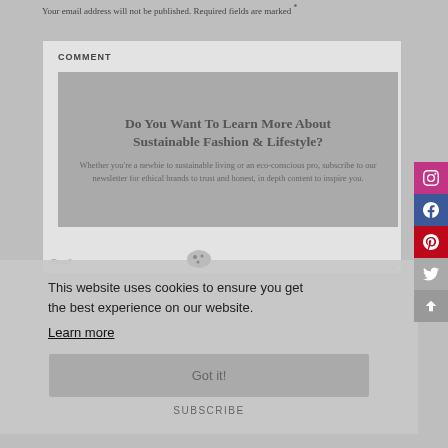Your email address will not be published. Required fields are marked *
COMMENT
[Figure (screenshot): Newsletter signup overlay inside comment textarea: 'Do You Want To Learn More About Sustainable Fashion & Lifestyle?' with body text about subscribing to newsletter for ethical brands]
Email
This website uses cookies to ensure you get the best experience on our website.
Learn more
Got it!
SUBSCRIBE